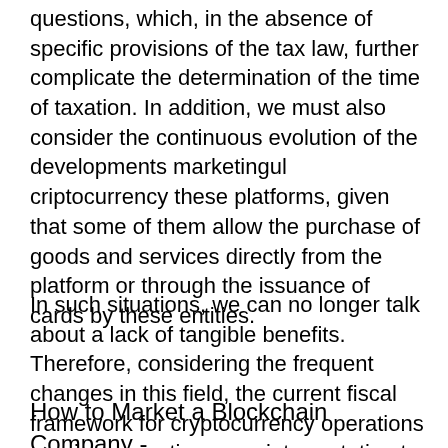questions, which, in the absence of specific provisions of the tax law, further complicate the determination of the time of taxation. In addition, we must also consider the continuous evolution of the developments marketingul criptocurrency these platforms, given that some of them allow the purchase of goods and services directly from the platform or through the issuance of cards by these entities.
In such situations, we can no longer talk about a lack of tangible benefits. Therefore, considering the frequent changes in this field, the current fiscal framework for cryptocurrency operations requires a continuous reinterpretation to be adapted to market developments.
How to Market a Blockchain Company - T...